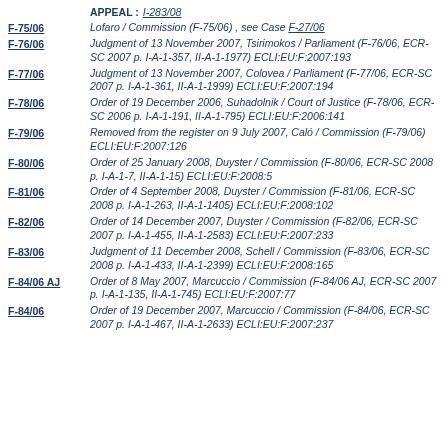APPEAL : I-283/08
F-75/06 | Lofaro / Commission (F-75/06) , see Case F-27/06
F-76/06 | Judgment of 13 November 2007, Tsirimokos / Parliament (F-76/06, ECR-SC 2007 p. I-A-1-357, II-A-1-1977) ECLI:EU:F:2007:193
F-77/06 | Judgment of 13 November 2007, Colovea / Parliament (F-77/06, ECR-SC 2007 p. I-A-1-361, II-A-1-1999) ECLI:EU:F:2007:194
F-78/06 | Order of 19 December 2006, Suhadolnik / Court of Justice (F-78/06, ECR-SC 2006 p. I-A-1-191, II-A-1-795) ECLI:EU:F:2006:141
F-79/06 | Removed from the register on 9 July 2007, Caló / Commission (F-79/06) ECLI:EU:F:2007:126
F-80/06 | Order of 25 January 2008, Duyster / Commission (F-80/06, ECR-SC 2008 p. I-A-1-7, II-A-1-15) ECLI:EU:F:2008:5
F-81/06 | Order of 4 September 2008, Duyster / Commission (F-81/06, ECR-SC 2008 p. I-A-1-263, II-A-1-1405) ECLI:EU:F:2008:102
F-82/06 | Order of 14 December 2007, Duyster / Commission (F-82/06, ECR-SC 2007 p. I-A-1-455, II-A-1-2583) ECLI:EU:F:2007:233
F-83/06 | Judgment of 11 December 2008, Schell / Commission (F-83/06, ECR-SC 2008 p. I-A-1-433, II-A-1-2399) ECLI:EU:F:2008:165
F-84/06 AJ | Order of 8 May 2007, Marcuccio / Commission (F-84/06 AJ, ECR-SC 2007 p. I-A-1-135, II-A-1-745) ECLI:EU:F:2007:77
F-84/06 | Order of 19 December 2007, Marcuccio / Commission (F-84/06, ECR-SC 2007 p. I-A-1-467, II-A-1-2633) ECLI:EU:F:2007:237